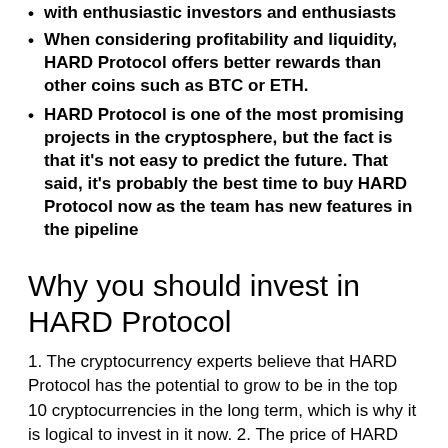with enthusiastic investors and enthusiasts
When considering profitability and liquidity, HARD Protocol offers better rewards than other coins such as BTC or ETH.
HARD Protocol is one of the most promising projects in the cryptosphere, but the fact is that it's not easy to predict the future. That said, it's probably the best time to buy HARD Protocol now as the team has new features in the pipeline
Why you should invest in HARD Protocol
1. The cryptocurrency experts believe that HARD Protocol has the potential to grow to be in the top 10 cryptocurrencies in the long term, which is why it is logical to invest in it now. 2. The price of HARD Protocol is expected to rise in the short term due to its increased adoption in the crypto community. 3. HARD Protocol is